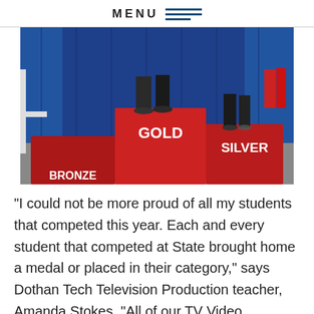MENU
[Figure (photo): People standing on a red GOLD/SILVER/BRONZE podium at what appears to be a state competition event, with blue curtains in the background.]
“I could not be more proud of all my students that competed this year. Each and every student that competed at State brought home a medal or placed in their category,” says Dothan Tech Television Production teacher, Amanda Stokes. “All of our TV Video Production students are so deserving for all of their hard work and determination to succeed. I